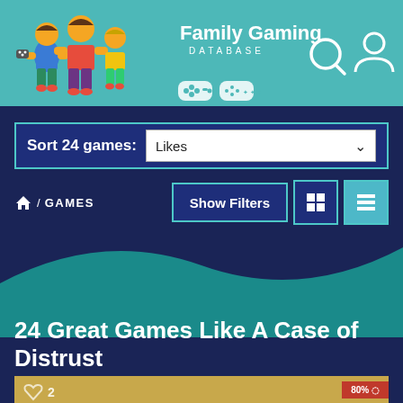[Figure (screenshot): Family Gaming Database website header with teal background, illustrated family characters, gamepad icons, and navigation icons (search, user, menu)]
[Figure (screenshot): Sort bar with label 'Sort 24 games:' and a dropdown showing 'Likes']
/ GAMES
[Figure (screenshot): Show Filters button and grid/list view toggle buttons]
24 Great Games Like A Case of Distrust
[Figure (screenshot): Bottom of a game card showing a heart icon with '2', a scale/justice illustration, and a red '80%' ribbon in the corner]